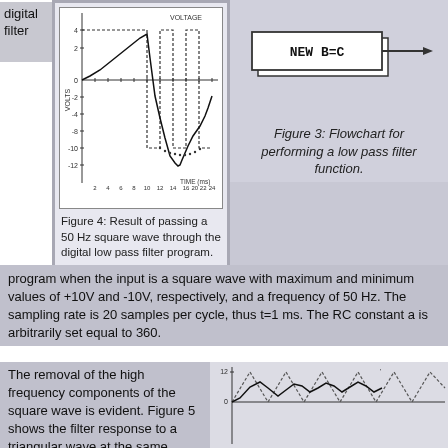digital filter
[Figure (continuous-plot): Voltage vs time plot showing digital low pass filter output for 50 Hz square wave input. Y-axis labeled VOLTS from -12 to 4, X-axis labeled TIME (ms) from 0 to 24. Shows square wave (dashed) and filtered output (solid) waveforms.]
[Figure (flowchart): Flowchart with a box labeled NEW B=C and an arrow pointing right, for performing a low pass filter function.]
Figure 3: Flowchart for performing a low pass filter function.
Figure 4: Result of passing a 50 Hz square wave through the digital low pass filter program.
program when the input is a square wave with maximum and minimum values of +10V and -10V, respectively, and a frequency of 50 Hz. The sampling rate is 20 samples per cycle, thus t=1 ms. The RC constant a is arbitrarily set equal to 360.
The removal of the high frequency components of the square wave is evident. Figure 5 shows the filter response to a triangular wave at the same frequency. The output is
[Figure (continuous-plot): Partial voltage vs time chart showing triangular wave filter response, with y-axis showing values around 12 and 0, with waveform visible at bottom.]